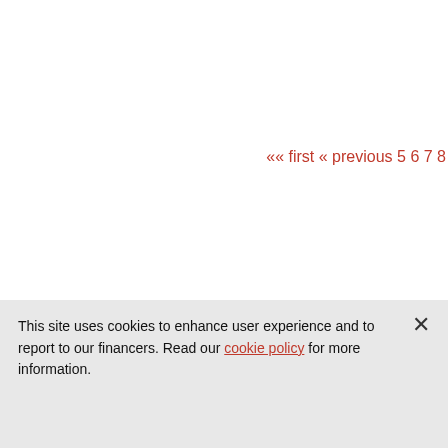Clip gemaakt in Natuurbeelden
«« first « previous 5 6 7 8
Open Images is an initiative by:
Navigate
Home
Over
Media
Draag bij
Gebruikers
Blog
P
O
V
N
O
B
In
S
This site uses cookies to enhance user experience and to report to our financers. Read our cookie policy for more information.